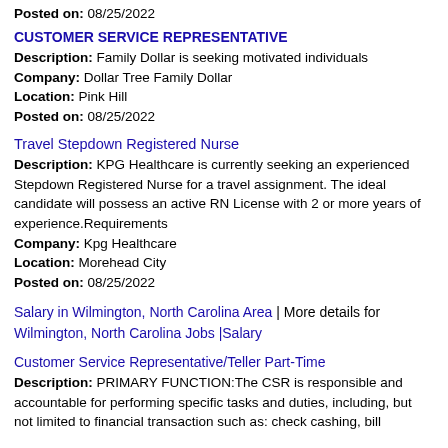Posted on: 08/25/2022
CUSTOMER SERVICE REPRESENTATIVE
Description: Family Dollar is seeking motivated individuals
Company: Dollar Tree Family Dollar
Location: Pink Hill
Posted on: 08/25/2022
Travel Stepdown Registered Nurse
Description: KPG Healthcare is currently seeking an experienced Stepdown Registered Nurse for a travel assignment. The ideal candidate will possess an active RN License with 2 or more years of experience.Requirements
Company: Kpg Healthcare
Location: Morehead City
Posted on: 08/25/2022
Salary in Wilmington, North Carolina Area | More details for Wilmington, North Carolina Jobs |Salary
Customer Service Representative/Teller Part-Time
Description: PRIMARY FUNCTION:The CSR is responsible and accountable for performing specific tasks and duties, including, but not limited to financial transaction such as: check cashing, bill